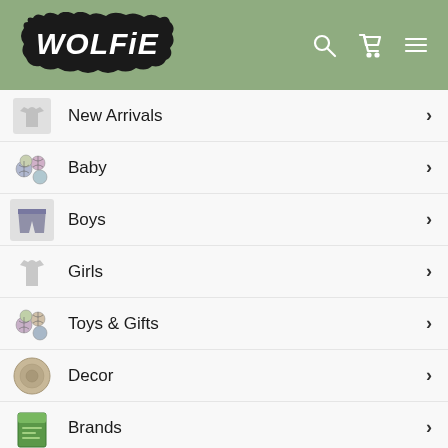WOLFIE — navigation header with search, cart, and menu icons
New Arrivals
Baby
Boys
Girls
Toys & Gifts
Decor
Brands
Sale